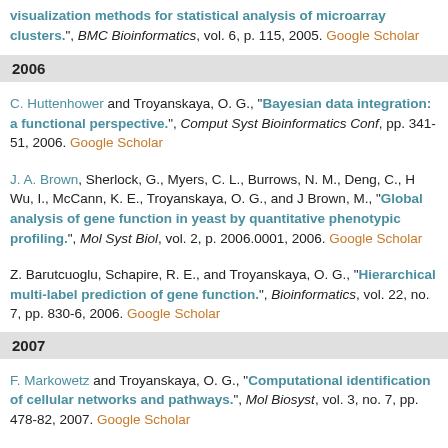Visualization methods for statistical analysis of microarray clusters.", BMC Bioinformatics, vol. 6, p. 115, 2005. Google Scholar
2006
C. Huttenhower and Troyanskaya, O. G., "Bayesian data integration: a functional perspective.", Comput Syst Bioinformatics Conf, pp. 341-51, 2006. Google Scholar
J. A. Brown, Sherlock, G., Myers, C. L., Burrows, N. M., Deng, C., H Wu, I., McCann, K. E., Troyanskaya, O. G., and J Brown, M., "Global analysis of gene function in yeast by quantitative phenotypic profiling.", Mol Syst Biol, vol. 2, p. 2006.0001, 2006. Google Scholar
Z. Barutcuoglu, Schapire, R. E., and Troyanskaya, O. G., "Hierarchical multi-label prediction of gene function.", Bioinformatics, vol. 22, no. 7, pp. 830-6, 2006. Google Scholar
2007
F. Markowetz and Troyanskaya, O. G., "Computational identification of cellular networks and pathways.", Mol Biosyst, vol. 3, no. 7, pp. 478-82, 2007. Google Scholar
O. G. Troyanskaya, "Integrated analysis of microarray results.", Methods Mol Biol, vol. 382, pp. 429-37, 2007. Google Scholar
B. Haarer, Viggiano, S., Hibbs, M. A., Troyanskaya, O. G., and Amberg...